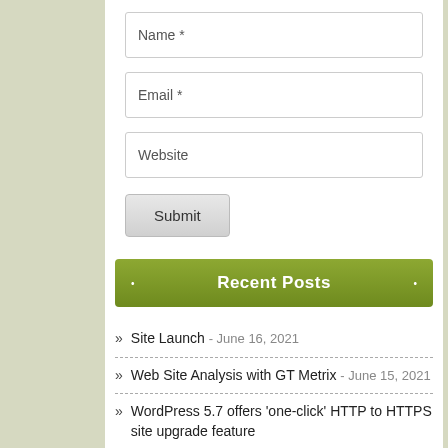[Figure (other): Web form with Name, Email, Website input fields and a Submit button]
Recent Posts
» Site Launch - June 16, 2021
» Web Site Analysis with GT Metrix - June 15, 2021
» WordPress 5.7 offers 'one-click' HTTP to HTTPS site upgrade feature